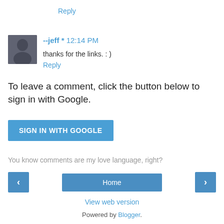Reply
[Figure (photo): Small avatar photo of a person outdoors]
--jeff * 12:14 PM
thanks for the links. : )
Reply
To leave a comment, click the button below to sign in with Google.
SIGN IN WITH GOOGLE
You know comments are my love language, right?
< Home >
View web version
Powered by Blogger.